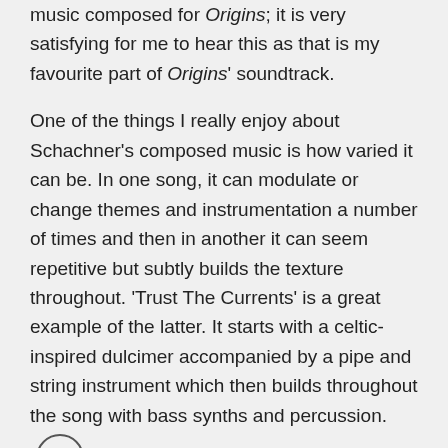music composed for Origins; it is very satisfying for me to hear this as that is my favourite part of Origins' soundtrack.
One of the things I really enjoy about Schachner's composed music is how varied it can be. In one song, it can modulate or change themes and instrumentation a number of times and then in another it can seem repetitive but subtly builds the texture throughout. 'Trust The Currents' is a great example of the latter. It starts with a celtic-inspired dulcimer accompanied by a pipe and string instrument which then builds throughout the song with bass synths and percussion.
'Leaving Valhalla' starts with a beautifully